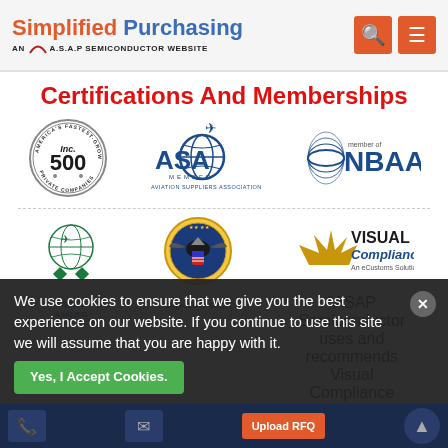Simplified Purchasing — AN A.S.A.P SEMICONDUCTOR WEBSITE
Certifications And Memberships
[Figure (logo): Inc. 500 America's Fastest-Growing Private Companies circular seal logo]
[Figure (logo): ASA Member Aviation Suppliers Association logo]
[Figure (logo): NBAA member of logo]
[Figure (logo): ASACB AS9120B ISO 9001:2015 certification logo]
[Figure (logo): Cage Code 6RE77 US government seal]
[Figure (logo): Visual Compliance An eCustoms Solution logo]
We use cookies to ensure that we give you the best experience on our website. If you continue to use this site we will assume that you are happy with it.
Yes, I Accept Cookies.